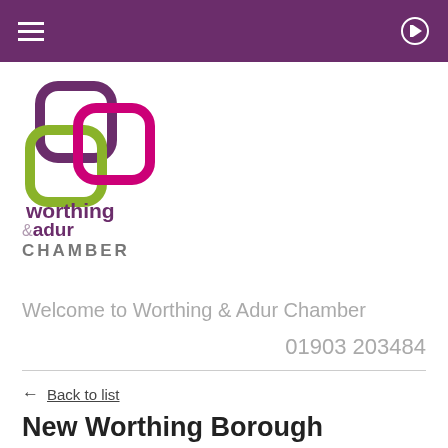[Figure (logo): Worthing & Adur Chamber logo with three interlocking rounded squares in purple, lime green and magenta, with text 'worthing & adur CHAMBER' below]
Welcome to Worthing & Adur Chamber
01903 203484
← Back to list
New Worthing Borough Council cabinet unveiled